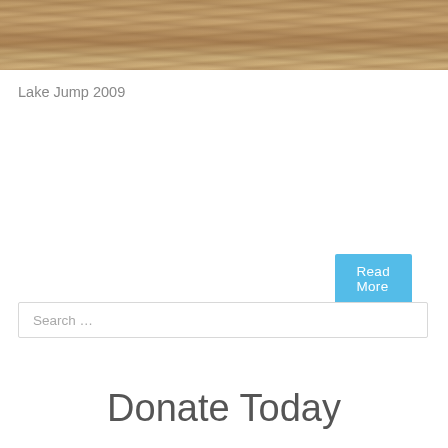[Figure (photo): Close-up photo of murky brown lake water with rippled surface texture, cropped to a horizontal strip at the top of the page.]
Lake Jump 2009
Read More
Search …
Donate Today